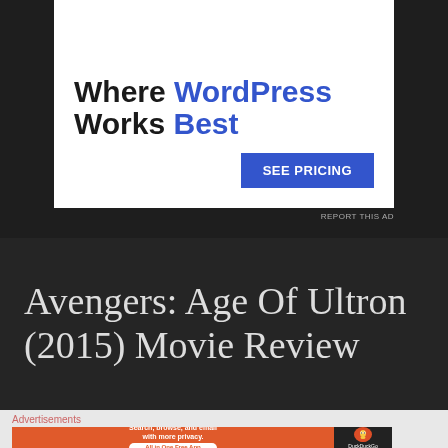[Figure (screenshot): WordPress advertisement banner with text 'Where WordPress Works Best' and a blue 'SEE PRICING' button on white background]
REPORT THIS AD
Avengers: Age Of Ultron (2015) Movie Review
Advertisements
[Figure (screenshot): DuckDuckGo advertisement banner: orange section with 'Search, browse, and email with more privacy. All in One Free App' and dark section with DuckDuckGo logo]